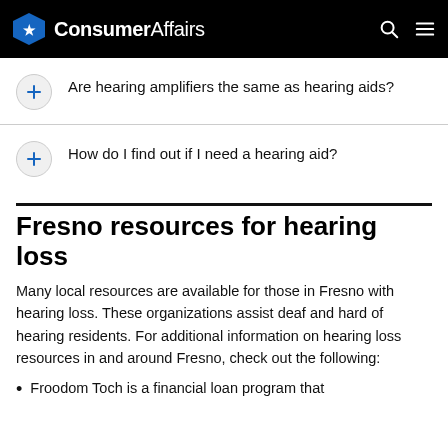ConsumerAffairs
Are hearing amplifiers the same as hearing aids?
How do I find out if I need a hearing aid?
Fresno resources for hearing loss
Many local resources are available for those in Fresno with hearing loss. These organizations assist deaf and hard of hearing residents. For additional information on hearing loss resources in and around Fresno, check out the following:
Freedom Tech is a financial loan program that